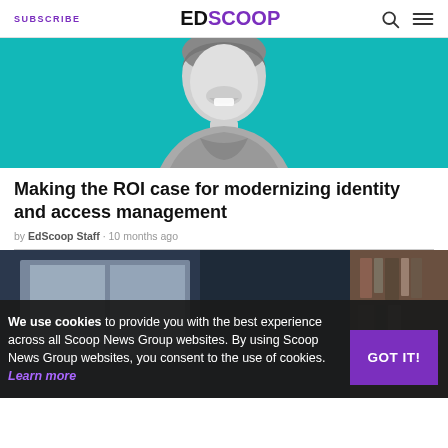SUBSCRIBE | EDSCOOP
[Figure (photo): Smiling woman photographed in black and white against a teal/cyan background, cropped to show face and upper torso]
Making the ROI case for modernizing identity and access management
by EdScoop Staff · 10 months ago
[Figure (photo): Dark office or library interior scene with bookshelf visible on right side]
We use cookies to provide you with the best experience across all Scoop News Group websites. By using Scoop News Group websites, you consent to the use of cookies. Learn more